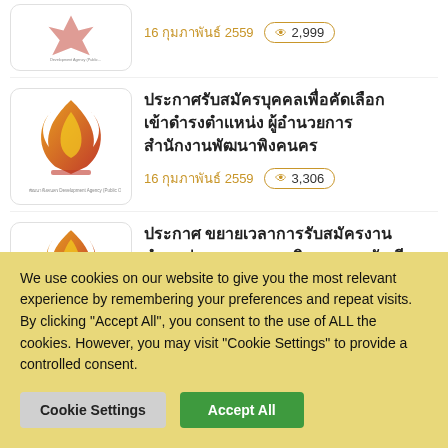[Figure (logo): Thai government agency logo (partial, top-cropped)]
16 กุมภาพันธ์ 2559
2,999
[Figure (logo): Thai government agency logo - orange/red flame/crown emblem]
ประกาศรับสมัครบุคคลเพื่อคัดเลือกเข้าดำรงตำแหน่ง ผู้อำนวยการสำนักงานพัฒนาพิงคนคร
16 กุมภาพันธ์ 2559
3,306
[Figure (logo): Thai government agency logo - orange flame/crown emblem (partial)]
ประกาศ ขยายเวลาการรับสมัครงาน ตำแหน่ง หน.งานการเงินและหน.บัญชี
We use cookies on our website to give you the most relevant experience by remembering your preferences and repeat visits. By clicking "Accept All", you consent to the use of ALL the cookies. However, you may visit "Cookie Settings" to provide a controlled consent.
Cookie Settings
Accept All